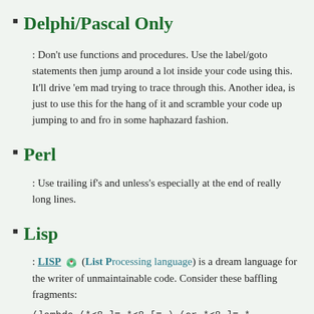Delphi/Pascal Only
: Don’t use functions and procedures. Use the label/goto statements then jump around a lot inside your code using this. It’ll drive ‘em mad trying to trace through this. Another idea, is just to use this for the hang of it and scramble your code up jumping to and fro in some haphazard fashion.
Perl
: Use trailing if’s and unless’s especially at the end of really long lines.
Lisp
: LISP (List Processing language) is a dream language for the writer of unmaintainable code. Consider these baffling fragments:
(lambda (*<8-]= *<8-[= ) (or *<8-]= *<8-[= ))

(defun :-] (<) (= < 2))